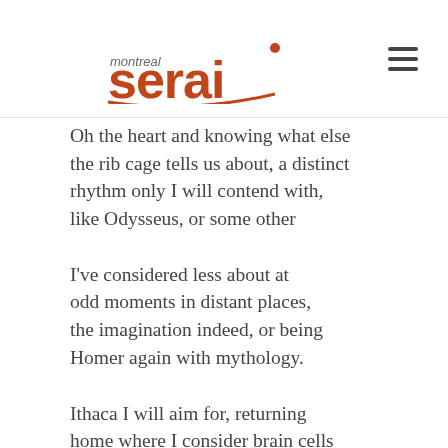montreal serai
Oh the heart and knowing what else
the rib cage tells us about, a distinct
rhythm only I will contend with,
like Odysseus, or some other
I've considered less about at
odd moments in distant places,
the imagination indeed, or being
Homer again with mythology.
Ithaca I will aim for, returning
home where I consider brain cells
and start humming to myself
about the liver, kidneys, spleen;
and veins, arteries, aorta, the alveoli